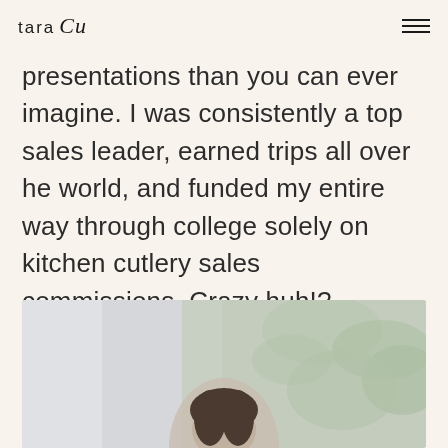tara Cox
presentations than you can ever imagine. I was consistently a top sales leader, earned trips all over he world, and funded my entire way through college solely on kitchen cutlery sales commissions. Crazy huh!?
[Figure (photo): Photo of a woman, partially visible at the bottom of the page, with a light/white background and some greenery visible]